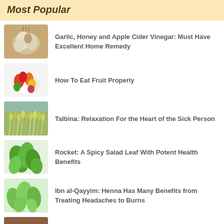Most Popular
Garlic, Honey and Apple Cider Vinegar: Must Have Excellent Home Remedy
How To Eat Fruit Properly
Talbina: Relaxation For the Heart of the Sick Person
Rocket: A Spicy Salad Leaf With Potent Health Benefits
Ibn al-Qayyim: Henna Has Many Benefits from Treating Headaches to Burns
Why We Need Protein in our Diets